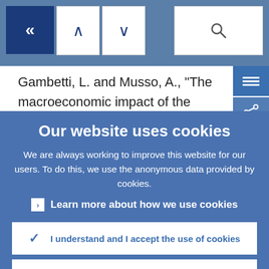[Figure (screenshot): ECB website navigation bar with back button, up/down arrows, and search box]
Gambetti, L. and Musso, A., "The macroeconomic impact of the ECB's expand asset purchase programme (APP)", Working
Our website uses cookies
We are always working to improve this website for our users. To do this, we use the anonymous data provided by cookies.
Learn more about how we use cookies
I understand and I accept the use of cookies
I do not accept the use of cookies